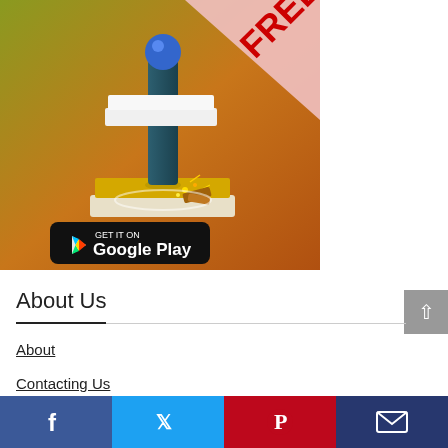[Figure (screenshot): Mobile game app screenshot showing a drilling/stamping game with olive/orange gradient background, a teal tool pressing down on a yellow platform with sparks, a blue ball on top, a FREE banner in top-right corner, and a 'GET IT ON Google Play' badge at the bottom.]
About Us
About
Contacting Us
Privacy Policy
[Figure (infographic): Social media share bar with four buttons: Facebook (blue), Twitter (light blue), Pinterest (red), Email (dark blue)]